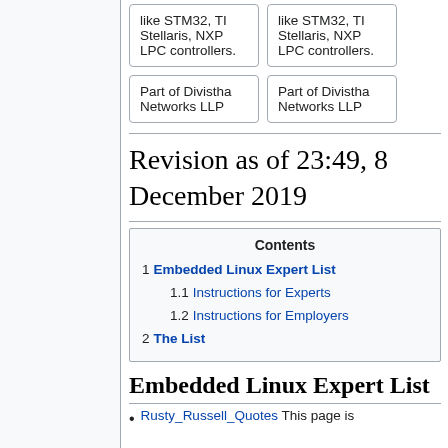| like STM32, TI Stellaris, NXP LPC controllers. | like STM32, TI Stellaris, NXP LPC controllers. |
| Part of Divistha Networks LLP | Part of Divistha Networks LLP |
Revision as of 23:49, 8 December 2019
| Contents |
| --- |
| 1 Embedded Linux Expert List |
| 1.1 Instructions for Experts |
| 1.2 Instructions for Employers |
| 2 The List |
Embedded Linux Expert List
Rusty_Russell_Quotes This page is